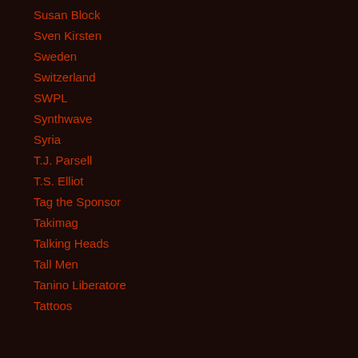Susan Block
Sven Kirsten
Sweden
Switzerland
SWPL
Synthwave
Syria
T.J. Parsell
T.S. Elliot
Tag the Sponsor
Takimag
Talking Heads
Tall Men
Tanino Liberatore
Tattoos